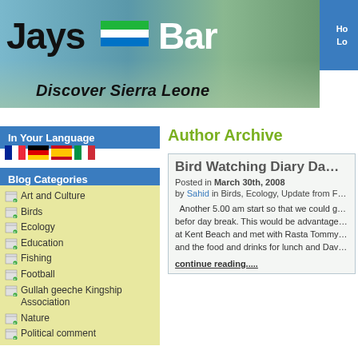[Figure (screenshot): Jays Bar website header banner with beach/mountain background, logo text 'Jays Bar' with Sierra Leone flag, subtitle 'Discover Sierra Leone']
In Your Language
[Figure (illustration): Four country flags: France, Germany, Spain, Italy]
Blog Categories
Art and Culture
Birds
Ecology
Education
Fishing
Football
Gullah geeche Kingship Association
Nature
Political comment
Author Archive
Bird Watching Diary Da…
Posted in March 30th, 2008
by Sahid in Birds, Ecology, Update from F…
Another 5.00 am start so that we could g… befor day break. This would be advantage… at Kent Beach and met with Rasta Tommy… and the food and drinks for lunch and Dav…
continue reading......